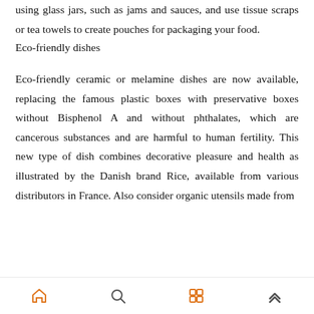using glass jars, such as jams and sauces, and use tissue scraps or tea towels to create pouches for packaging your food.
Eco-friendly dishes
Eco-friendly ceramic or melamine dishes are now available, replacing the famous plastic boxes with preservative boxes without Bisphenol A and without phthalates, which are cancerous substances and are harmful to human fertility. This new type of dish combines decorative pleasure and health as illustrated by the Danish brand Rice, available from various distributors in France. Also consider organic utensils made from